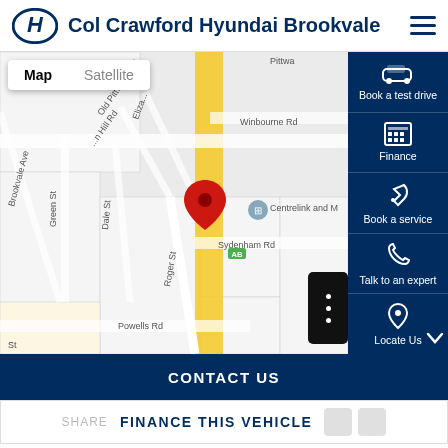Col Crawford Hyundai Brookvale
[Figure (map): Google Map showing location of Col Crawford Hyundai Brookvale near Old Pittwater Rd and Sydenham Rd, Brookvale, with a red map pin marker. Map/Satellite toggle visible. Street names include Brookvale Ave, Green St, Dale St, Roger St, Old Pittwater Rd, Winbourne Rd, Sydenham Rd, Powells Rd. Side panel on right with: Book a test drive, Finance, Book a service, Talk to an expert, Locate Us buttons.]
CONTACT US
FINANCE THIS VEHICLE